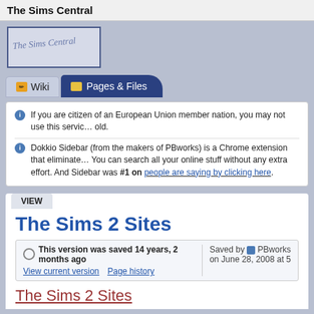The Sims Central
[Figure (logo): The Sims Central logo in cursive script, blue-toned box with border]
Wiki   Pages & Files
If you are citizen of an European Union member nation, you may not use this service until you are old.
Dokkio Sidebar (from the makers of PBworks) is a Chrome extension that eliminates. You can search all your online stuff without any extra effort. And Sidebar was #1 on people are saying by clicking here.
VIEW
The Sims 2 Sites
This version was saved 14 years, 2 months ago
View current version    Page history
Saved by PBworks on June 28, 2008 at 5
The Sims 2 Sites